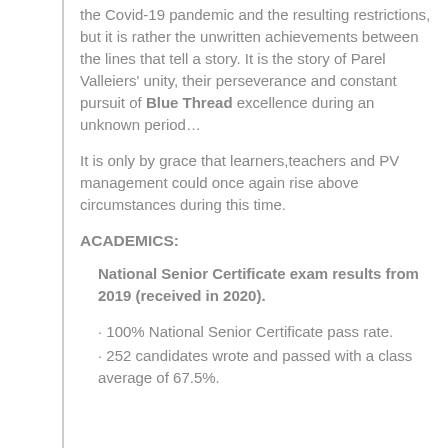the Covid-19 pandemic and the resulting restrictions, but it is rather the unwritten achievements between the lines that tell a story. It is the story of Parel Valleiers' unity, their perseverance and constant pursuit of Blue Thread excellence during an unknown period…
It is only by grace that learners,teachers and PV management could once again rise above circumstances during this time.
ACADEMICS:
National Senior Certificate exam results from 2019 (received in 2020).
· 100% National Senior Certificate pass rate.
· 252 candidates wrote and passed with a class average of 67.5%.